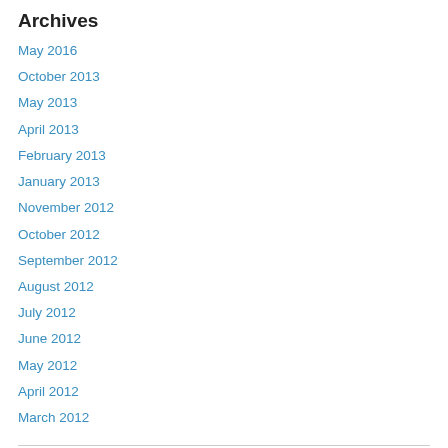Archives
May 2016
October 2013
May 2013
April 2013
February 2013
January 2013
November 2012
October 2012
September 2012
August 2012
July 2012
June 2012
May 2012
April 2012
March 2012
Categories